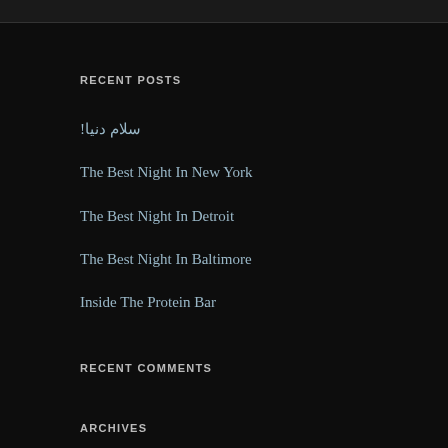RECENT POSTS
!سلام دنیا
The Best Night In New York
The Best Night In Detroit
The Best Night In Baltimore
Inside The Protein Bar
RECENT COMMENTS
ARCHIVES